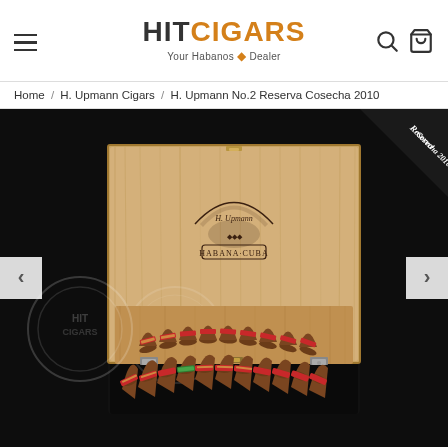HIT CIGARS – Your Habanos Dealer
Home / H. Upmann Cigars / H. Upmann No.2 Reserva Cosecha 2010
[Figure (photo): Open wooden cigar box of H. Upmann No.2 Reserva Cosecha 2010, showing pyramid-shaped cigars with red, green, and gold bands arranged inside the box. The box lid is open showing the H. Upmann Habana Cuba brand stamp. A 'Reserva Cosecha 2010' label is visible in the top-right corner. Navigation arrows are present on both sides. HIT Cigars watermark logo overlaid on the image.]